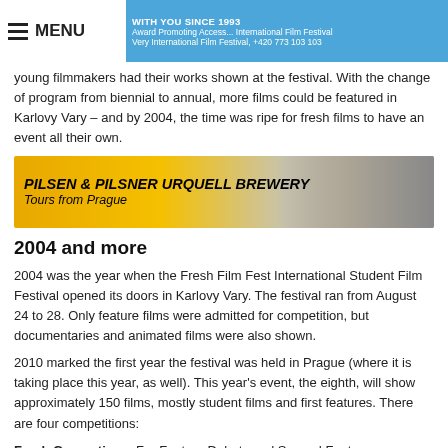WITH YOU SINCE 1993 | Award Promoting Access... | Very International Film Festival, +420 773 103 103
young filmmakers had their works shown at the festival. With the change of program from biennial to annual, more films could be featured in Karlovy Vary – and by 2004, the time was ripe for fresh films to have an event all their own.
[Figure (other): Advertisement banner: PILSEN & PILSNER URQUELL BREWERY Tours from Prague, with background photo of buildings]
2004 and more
2004 was the year when the Fresh Film Fest International Student Film Festival opened its doors in Karlovy Vary. The festival ran from August 24 to 28. Only feature films were admitted for competition, but documentaries and animated films were also shown.
2010 marked the first year the festival was held in Prague (where it is taking place this year, as well). This year's event, the eighth, will show approximately 150 films, mostly student films and first features. There are four competitions:
Fresh Generation – For Feature Debuts and Second Features.
Confrontations – International Competition of Feature and Documentary Student Films.
Theatre Optique – International Competition of Animated and Experimental